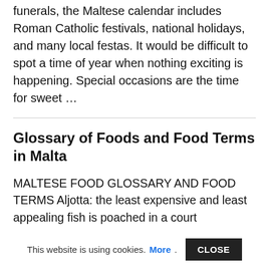funerals, the Maltese calendar includes Roman Catholic festivals, national holidays, and many local festas. It would be difficult to spot a time of year when nothing exciting is happening. Special occasions are the time for sweet ...
Glossary of Foods and Food Terms in Malta
MALTESE FOOD GLOSSARY AND FOOD TERMS Aljotta: the least expensive and least appealing fish is poached in a court
This website is using cookies. More. CLOSE